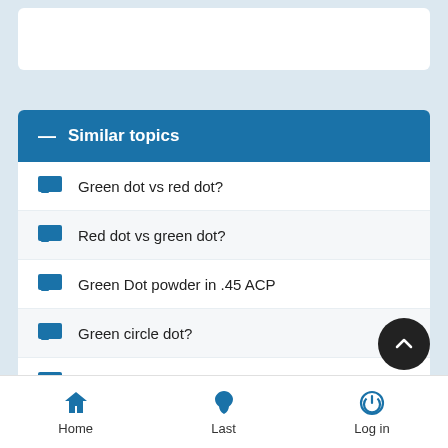— Similar topics
Green dot vs red dot?
Red dot vs green dot?
Green Dot powder in .45 ACP
Green circle dot?
Green Free Pistol
Home  Last  Log in